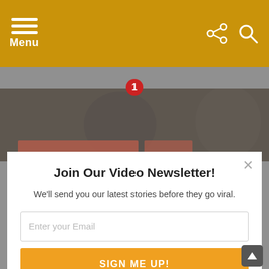Menu
[Figure (screenshot): Website screenshot showing a golden/amber navigation header bar with hamburger menu icon and 'Menu' label on the left, share and search icons on the right. Below is a partially visible image strip with a red notification dot showing '1'. A modal popup overlays the content with a newsletter signup form titled 'Join Our Video Newsletter!' with subtitle 'We'll send you our latest stories before they go viral.', an email input field, and an orange 'SIGN ME UP!' button. A 'POWERED BY SUMO' badge appears below the modal. Below the modal is article text about Debra Winger with partial italic text 'this' visible. A scroll-to-top button is at the bottom right.]
Join Our Video Newsletter!
We'll send you our latest stories before they go viral.
SIGN ME UP!
Debra Winger had a very successful career in the 1980's and '90s, starring as the lead in several hugely successful movies. And while she was always praised for her talent, her performances, and her charm on screen, she was also notoriously difficult to work with on set. Now, whether these many instances were all her [...] MORE